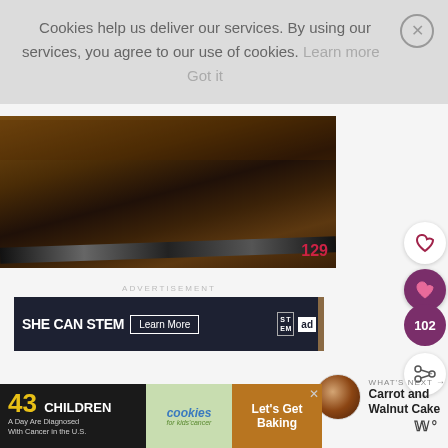Cookies help us deliver our services. By using our services, you agree to our use of cookies. Learn more Got it
[Figure (photo): Close-up of food (baked dish) with a dark metallic rail/pan edge, and number 129 in red at bottom right]
[Figure (infographic): Social interaction buttons: heart outline icon, filled heart icon with count 102, and share icon]
ADVERTISEMENT
[Figure (screenshot): SHE CAN STEM advertisement banner with 'Learn More' button, STEM and Ad Council logos on dark background]
[Figure (infographic): What's Next arrow with thumbnail of Carrot and Walnut Cake]
WHAT'S NEXT → Carrot and Walnut Cake
[Figure (infographic): Bottom advertisement: 43 CHILDREN A Day Are Diagnosed With Cancer in the U.S. — cookies for kids cancer — Let's Get Baking]